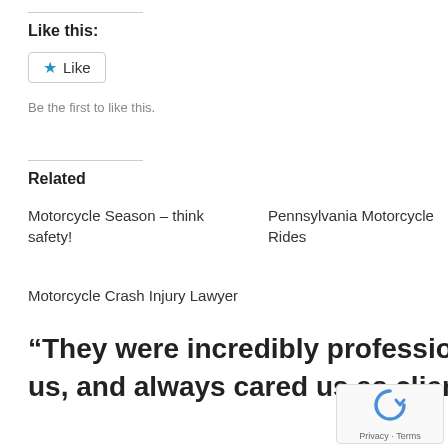Like this:
[Figure (other): Like button widget with blue star icon and 'Like' text, bordered rounded rectangle]
Be the first to like this.
Related
Motorcycle Season – think safety!
Pennsylvania Motorcycle Rides
Motorcycle Crash Injury Lawyer
“They were incredibly professional in their communication with us, and always cared us as clients.” – Hannah